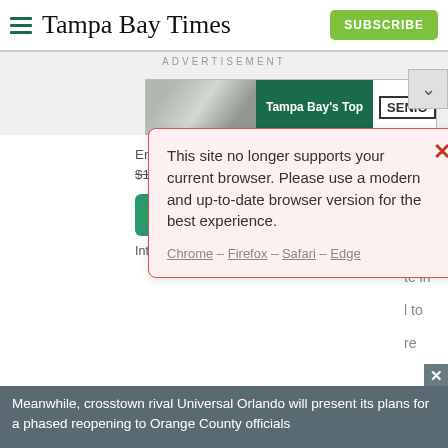Tampa Bay Times — SUBSCRIBE
ADVERTISEMENT
[Figure (screenshot): Tampa Bay's Top advertisement banner with cyclist image and SENIO label with chevron dropdown]
This site no longer supports your current browser. Please use a modern and up-to-date browser version for the best experience.
Chrome – Firefox – Safari – Edge
Enjoy unlimited access to tampabay.com for only $11.75 $0.99 for the first month.
Subscribe   Log In
Interested in print delivery? Subscribe here →
Meanwhile, crosstown rival Universal Orlando will present its plans for a phased reopening to Orange County officials